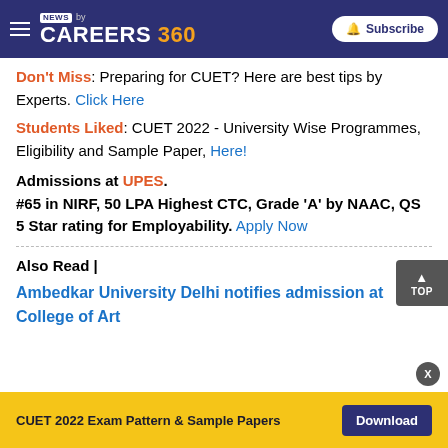NEWS by CAREERS 360 — Subscribe
Don't Miss: Preparing for CUET? Here are best tips by Experts. Click Here
Students Liked: CUET 2022 - University Wise Programmes, Eligibility and Sample Paper, Here!
Admissions at UPES. #65 in NIRF, 50 LPA Highest CTC, Grade 'A' by NAAC, QS 5 Star rating for Employability. Apply Now
Also Read |
Ambedkar University Delhi notifies admission at College of Art
CUET 2022 Exam Pattern & Sample Papers  Download